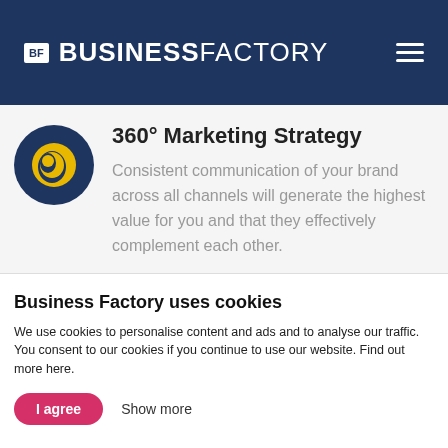BF BUSINESSFACTORY
360° Marketing Strategy
Consistent communication of your brand across all channels will generate the highest value for you and that they effectively complement each other.
Business Factory uses cookies
We use cookies to personalise content and ads and to analyse our traffic. You consent to our cookies if you continue to use our website. Find out more here.
I agree
Show more